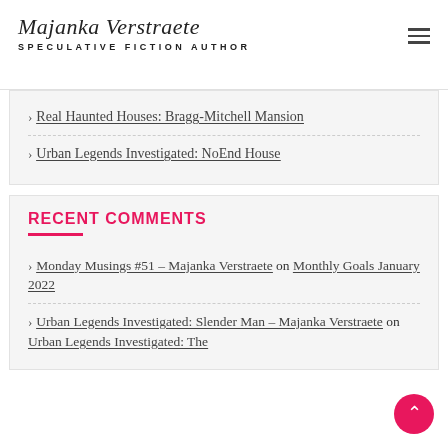Majanka Verstraete — SPECULATIVE FICTION AUTHOR
Real Haunted Houses: Bragg-Mitchell Mansion
Urban Legends Investigated: NoEnd House
RECENT COMMENTS
Monday Musings #51 – Majanka Verstraete on Monthly Goals January 2022
Urban Legends Investigated: Slender Man – Majanka Verstraete on Urban Legends Investigated: The